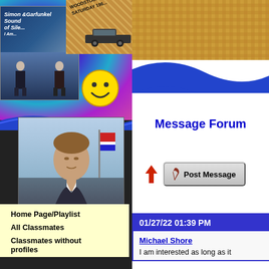[Figure (illustration): Collage of 1960s imagery: Simon & Garfunkel album cover, peace symbol necklace, Woodstock music festival ticket, smiley face, JFK photo, vintage car]
Home Page/Playlist
All Classmates
Classmates without profiles
Message Forum
Post Message
01/27/22 01:39 PM
Michael Shore
I am interested as long as it